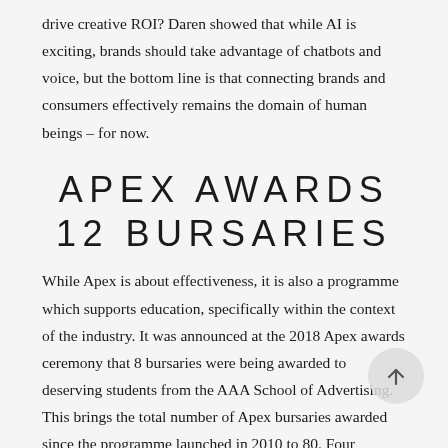drive creative ROI? Daren showed that while AI is exciting, brands should take advantage of chatbots and voice, but the bottom line is that connecting brands and consumers effectively remains the domain of human beings – for now.
APEX AWARDS 12 BURSARIES
While Apex is about effectiveness, it is also a programme which supports education, specifically within the context of the industry. It was announced at the 2018 Apex awards ceremony that 8 bursaries were being awarded to deserving students from the AAA School of Advertising. This brings the total number of Apex bursaries awarded since the programme launched in 2010 to 80. Four bursaries were awarded to students from the AAA's